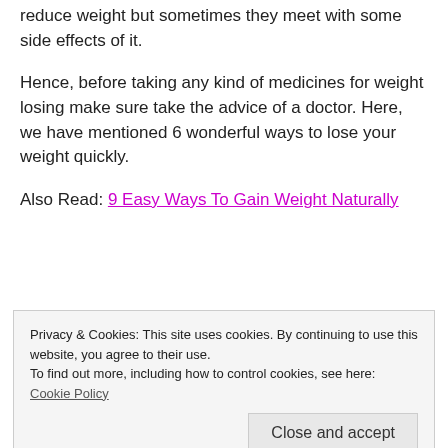reduce weight but sometimes they meet with some side effects of it.
Hence, before taking any kind of medicines for weight losing make sure take the advice of a doctor. Here, we have mentioned 6 wonderful ways to lose your weight quickly.
Also Read: 9 Easy Ways To Gain Weight Naturally
Privacy & Cookies: This site uses cookies. By continuing to use this website, you agree to their use.
To find out more, including how to control cookies, see here:
Cookie Policy
[Figure (photo): Partial photo of a person visible at the bottom of the page]